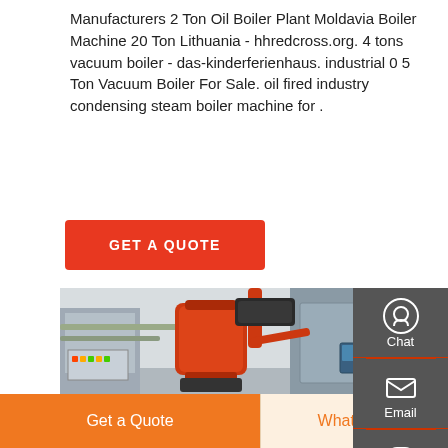Manufacturers 2 Ton Oil Boiler Plant Moldavia Boiler Machine 20 Ton Lithuania - hhredcross.org. 4 tons vacuum boiler - das-kinderferienhaus. industrial 0 5 Ton Vacuum Boiler For Sale. oil fired industry condensing steam boiler machine for .
[Figure (other): Red GET A QUOTE button]
[Figure (photo): Industrial boiler equipment photo showing a red cylindrical vacuum boiler with pipes, control panels, and industrial machinery in a facility]
[Figure (other): Sidebar with Chat, Email, and Contact icons on dark grey background]
[Figure (other): Bottom navigation bar with orange Get a Quote button and WhatsApp button]